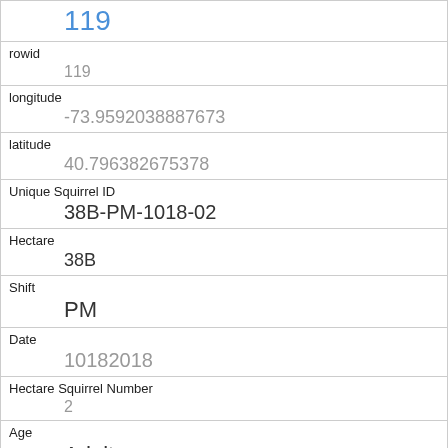| 119 |
| rowid | 119 |
| longitude | -73.9592038887673 |
| latitude | 40.796382675378 |
| Unique Squirrel ID | 38B-PM-1018-02 |
| Hectare | 38B |
| Shift | PM |
| Date | 10182018 |
| Hectare Squirrel Number | 2 |
| Age | Adult |
| Primary Fur Color |  |